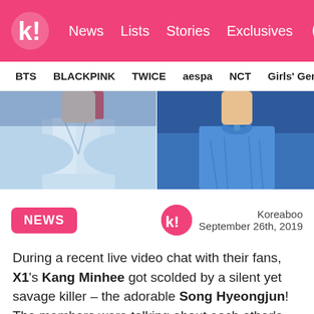k! News Lists Stories Exclusives
BTS BLACKPINK TWICE aespa NCT Girls' Generation
[Figure (photo): Two side-by-side photos showing two K-pop performers from the neck/chest area, both wearing blue shirts. Left person in light blue collared shirt, right person in blue blouse with bow tie.]
NEWS
Koreaboo
September 26th, 2019
During a recent live video chat with their fans, X1's Kang Minhee got scolded by a silent yet savage killer – the adorable Song Hyeongjun! The members were talking about each other's first impressions when Kang Minhee asked if he could talk about others who aren't a member of X1.